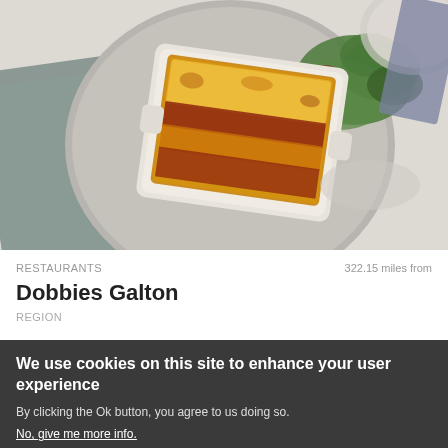[Figure (photo): Overhead food photography showing lasagna or baked pasta dish in a rectangular white ceramic baking dish on a grey plate, with green salad leaves, grey linen napkin, on a white marble surface.]
RESTAURANTS   322.15 miles from
Dobbies Galton
REGION
We use cookies on this site to enhance your user experience
By clicking the Ok button, you agree to us doing so.
No, give me more info.
No, thanks   OK, I agree